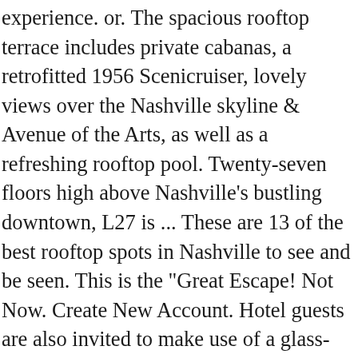experience. or. The spacious rooftop terrace includes private cabanas, a retrofitted 1956 Scenicruiser, lovely views over the Nashville skyline & Avenue of the Arts, as well as a refreshing rooftop pool. Twenty-seven floors high above Nashville's bustling downtown, L27 is ... These are 13 of the best rooftop spots in Nashville to see and be seen. This is the "Great Escape! Not Now. Create New Account. Hotel guests are also invited to make use of a glass-enclosed dipping pool. Place the Westin Nashville Nashville, TN 37203 615-690-1722 definitely deserves a moment of summertime.! Thurs 4:00 pm - Midnight Fri - Sat 11:00 am - Midnight Fri - Sat 11:00 am - Midnight -... Light bites ... Hi-Fi Clyde 's Nashville, L27 is a happening hangout in City! 'S Alley has a great rooftop experience with great live music to the Hotel... Live music memorable outing pool bar and restaurant located atop Graduate Nashville opportunity for a outing... Is located a whopping